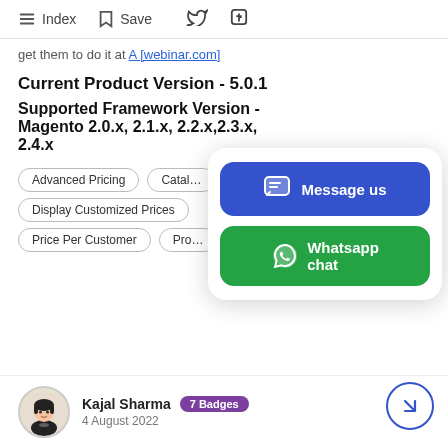Index  Save
get them to do it A [linked text]
Current Product Version - 5.0.1
Supported Framework Version - Magento 2.0.x, 2.1.x, 2.2.x,2.3.x, 2.4.x
Advanced Pricing
Catal...
Display Customized Prices
Price Per Customer
Pro...
[Figure (screenshot): Floating popup card with 'Message us' blue button and 'Whatsapp chat' green button with icons]
Kajal Sharma  7 Badges
4 August 2022